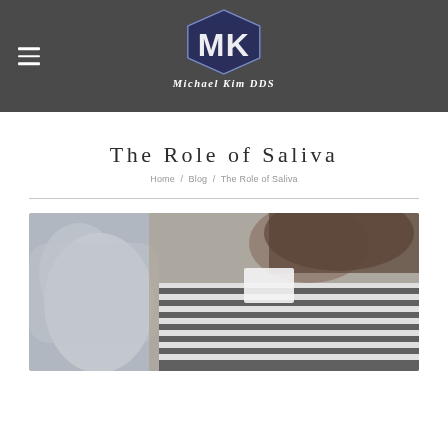[Figure (logo): Michael Kim DDS logo with MK monogram in dark navy/purple and white text on dark gray navigation bar]
The Role of Saliva
Home / Blog / The Role of Saliva
[Figure (photo): Dental office photo showing a patient in a dental chair with a dental professional nearby, blurred background]